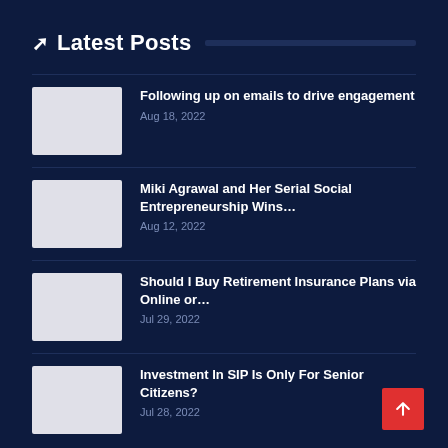Latest Posts
Following up on emails to drive engagement
Aug 18, 2022
Miki Agrawal and Her Serial Social Entrepreneurship Wins…
Aug 12, 2022
Should I Buy Retirement Insurance Plans via Online or…
Jul 29, 2022
Investment In SIP Is Only For Senior Citizens?
Jul 28, 2022